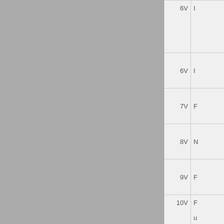| Code | Description |
| --- | --- |
| 6V | I |
| 7V | F |
| 8V | N |
| 9V | F |
| 10V | F
u

(

(

c |